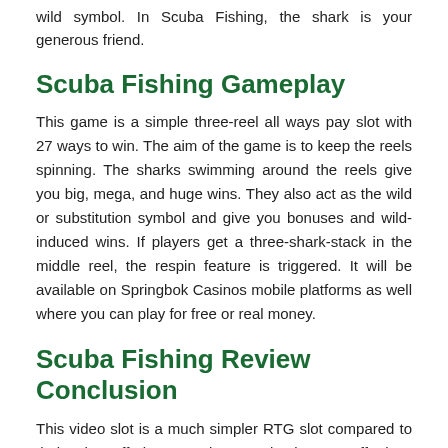wild symbol. In Scuba Fishing, the shark is your generous friend.
Scuba Fishing Gameplay
This game is a simple three-reel all ways pay slot with 27 ways to win. The aim of the game is to keep the reels spinning. The sharks swimming around the reels give you big, mega, and huge wins. They also act as the wild or substitution symbol and give you bonuses and wild-induced wins. If players get a three-shark-stack in the middle reel, the respin feature is triggered. It will be available on Springbok Casinos mobile platforms as well where you can play for free or real money.
Scuba Fishing Review Conclusion
This video slot is a much simpler RTG slot compared to their other offerings. It takes you back to an effortless gameplay without complicated bonuses and loads of features. But there are still plenty of opportunities to win and have great time. Look out for Scuba Fishing on Springbok Casino on 19 September 2018.